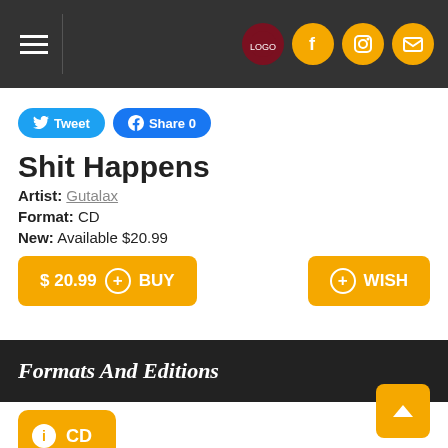Navigation header with hamburger menu and social icons (logo, Facebook, Instagram, Mail)
[Figure (screenshot): Tweet and Facebook Share 0 social buttons]
Shit Happens
Artist: Gutalax
Format: CD
New: Available $20.99
[Figure (screenshot): Buy button: $20.99 BUY and WISH button]
Formats And Editions
[Figure (screenshot): CD format button with info icon]